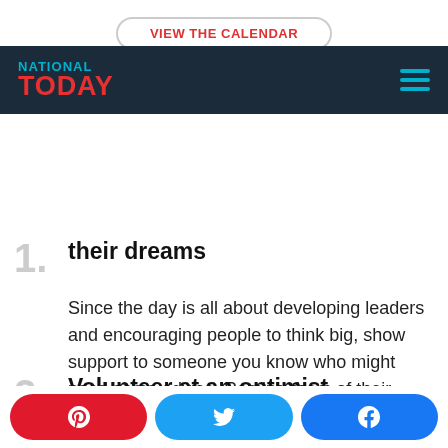[Figure (screenshot): VIEW THE CALENDAR button with rounded border at the top of page]
NATIONAL TODAY navigation bar with hamburger menu
their dreams
Since the day is all about developing leaders and encouraging people to think big, show support to someone you know who might need some advice. Remind them of their potential.
2. Volunteer at an optimist organization
[Figure (infographic): Social share bar with Pinterest, Twitter, and Facebook buttons]